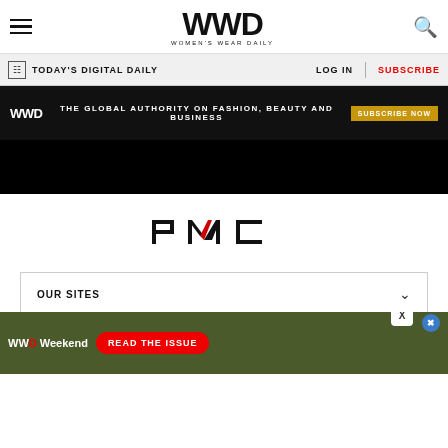WWD — Women's Wear Daily
TODAY'S DIGITAL DAILY | LOG IN | SUBSCRIBE
[Figure (infographic): WWD ad banner: THE GLOBAL AUTHORITY ON FASHION, BEAUTY AND BUSINESS — SUBSCRIBE NOW button]
[Figure (logo): PMC (Penske Media Corporation) logo in black with red accent on the M]
OUR SITES
WWD and Women's Wear Daily are part of Penske Media Corporation. © 2022 Fairchild Publishing, LLC. All Rights Reserved. Powered by WordPress.com VIP
[Figure (infographic): Bottom ad: WWD Weekend — READ THE ISSUE]